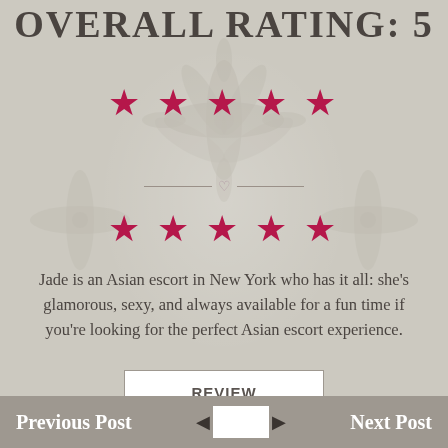OVERALL RATING: 5
[Figure (infographic): Five pink/red stars rating display (top row)]
[Figure (infographic): Five pink/red stars rating display (bottom row)]
Jade is an Asian escort in New York who has it all: she's glamorous, sexy, and always available for a fun time if you're looking for the perfect Asian escort experience.
By: jack | 3 months ago
Previous Post   REVIEW   Next Post